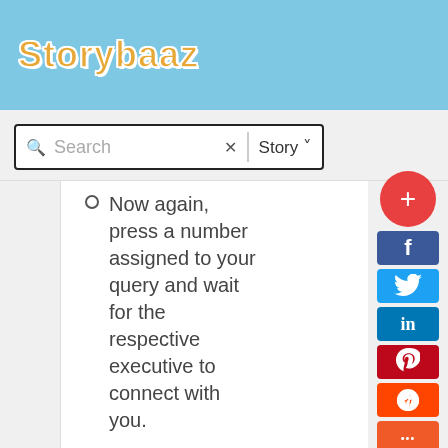Storybaaz
[Figure (screenshot): Search bar with magnifying glass icon, X button, Story dropdown]
Now again, press a number assigned to your query and wait for the respective executive to connect with you.
Once your call gets connected to the executive,
[Figure (infographic): Social sharing sidebar with Facebook, Twitter, LinkedIn, Pinterest, Reddit, and more buttons, plus a red + FAB button]